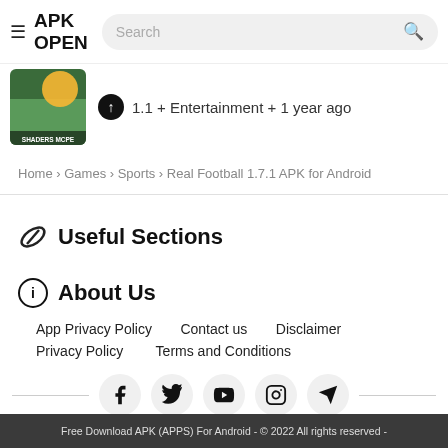APK OPEN — Search bar
1.1 + Entertainment + 1 year ago
Home › Games › Sports › Real Football 1.7.1 APK for Android
Useful Sections
About Us
App Privacy Policy
Contact us
Disclaimer
Privacy Policy
Terms and Conditions
Free Download APK (APPS) For Android - © 2022 All rights reserved -